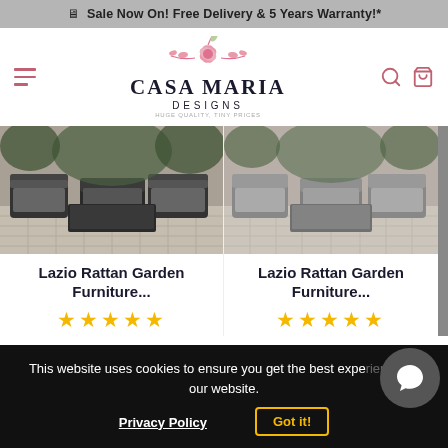Sale Now On! Free Delivery & 5 Years Warranty!*
[Figure (logo): Casa Maria Designs logo with decorative floral illustration, brand name, and tagline 'HUGE QUALITY, TINY PRICES']
[Figure (photo): Lazio Rattan Garden Furniture set in dark grey on a patio]
Lazio Rattan Garden Furniture...
★★★★★
[Figure (photo): Lazio Rattan Garden Furniture set in light grey on a patio]
Lazio Rattan Garden Furniture...
★★★★★
This website uses cookies to ensure you get the best experience on our website.
Privacy Policy
Got it!